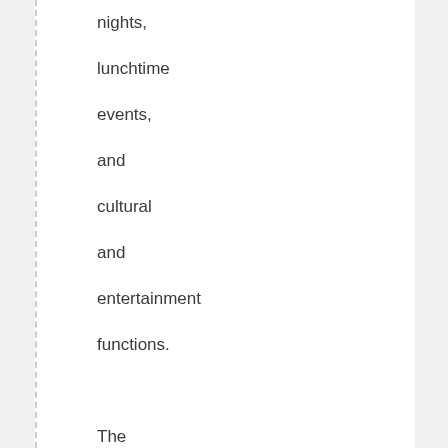nights, lunchtime events, and cultural and entertainment functions. The Student Association licenses various food outlets including a refectory at CQU Rockhampton, Mackay, Bundaberg